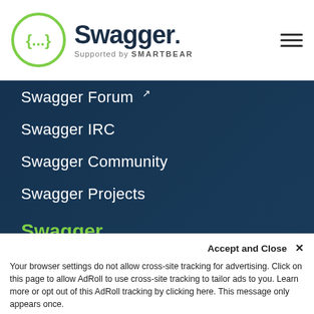Swagger. Supported by SMARTBEAR
Swagger Forum ↗
Swagger IRC
Swagger Community
Swagger Projects
Swagger
About Swagger
Blog
Support
News
Contact Us ↗
Accept and Close ✕
Your browser settings do not allow cross-site tracking for advertising. Click on this page to allow AdRoll to use cross-site tracking to tailor ads to you. Learn more or opt out of this AdRoll tracking by clicking here. This message only appears once.